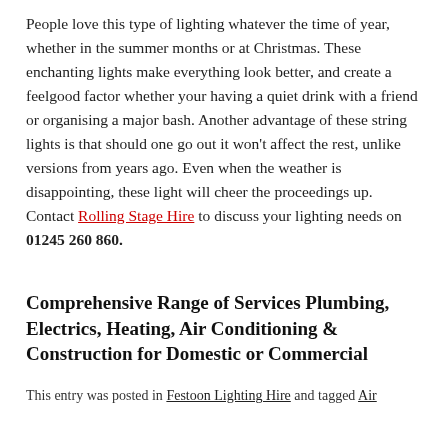People love this type of lighting whatever the time of year, whether in the summer months or at Christmas. These enchanting lights make everything look better, and create a feelgood factor whether your having a quiet drink with a friend or organising a major bash. Another advantage of these string lights is that should one go out it won't affect the rest, unlike versions from years ago. Even when the weather is disappointing, these light will cheer the proceedings up. Contact Rolling Stage Hire to discuss your lighting needs on 01245 260 860.
Comprehensive Range of Services Plumbing, Electrics, Heating, Air Conditioning & Construction for Domestic or Commercial
This entry was posted in Festoon Lighting Hire and tagged Air